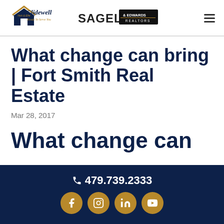[Figure (logo): Glidewell Nick & Ellie Ready To Serve You logo and Sagely & Edwards Realtors logo with hamburger menu icon]
What change can bring | Fort Smith Real Estate
Mar 28, 2017
What change can
📞 479.739.2333  [Facebook] [Instagram] [LinkedIn] [YouTube]